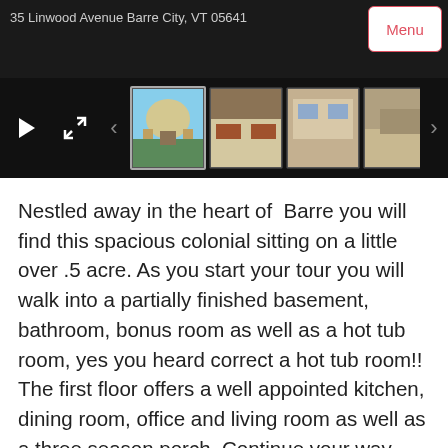[Figure (screenshot): Real estate listing photo gallery/video player UI showing address bar, Menu button, video controls, and thumbnail filmstrip of property photos on dark background]
Nestled away in the heart of Barre you will find this spacious colonial sitting on a little over .5 acre. As you start your tour you will walk into a partially finished basement, bathroom, bonus room as well as a hot tub room, yes you heard correct a hot tub room!! The first floor offers a well appointed kitchen, dining room, office and living room as well as a three season porch. Continue your way upstairs to four good size bedrooms with a full bath and walkup attic that has plenty of room for storage. Don't forget the two car detached garage and lovely spacious lot that makes this home complete. This home checks all the boxes, a must see home before it's gone